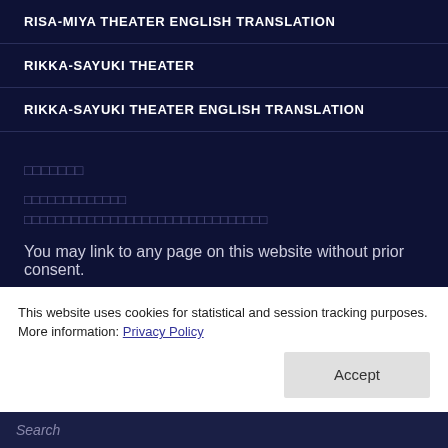RISA-MIYA THEATER ENGLISH TRANSLATION
RIKKA-SAYUKI THEATER
RIKKA-SAYUKI THEATER ENGLISH TRANSLATION
□□□□□□□
□□□□□□□□□□□□□
□□□□□□□□□□□□□□□□□□□□□□□□□□□□□□□
You may link to any page on this website without prior consent.
CATEGORIES
This website uses cookies for statistical and session tracking purposes. More information: Privacy Policy
Accept
Search